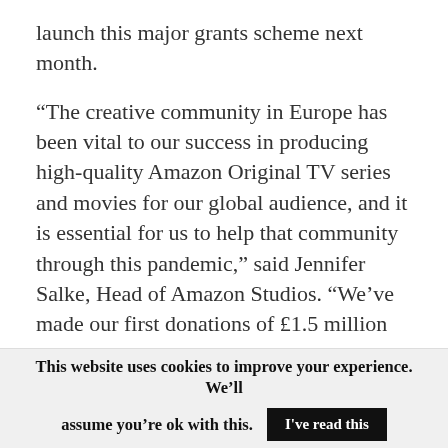launch this major grants scheme next month.
“The creative community in Europe has been vital to our success in producing high-quality Amazon Original TV series and movies for our global audience, and it is essential for us to help that community through this pandemic,” said Jennifer Salke, Head of Amazon Studios. “We’ve made our first donations of £1.5 million today to provide support to the talented freelancers from the UK’s creative community who have been directly affected by the closure of
This website uses cookies to improve your experience. We’ll assume you’re ok with this.
I've read this